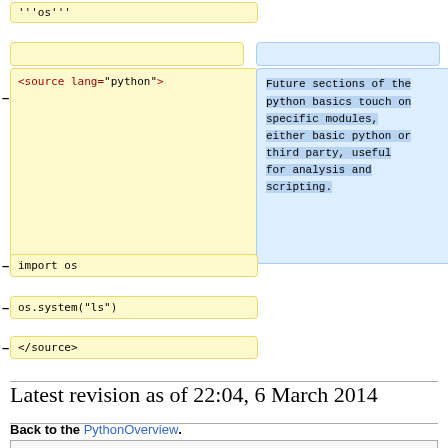[Figure (screenshot): Diff view showing left column with yellow boxes containing source code (source lang python, import os, os.system ls, /source) and right column with blue box containing added text about future sections of python basics touching on specific modules]
Latest revision as of 22:04, 6 March 2014
Back to the PythonOverview.
| Contents [hide] |
| --- |
| 1 Preface |